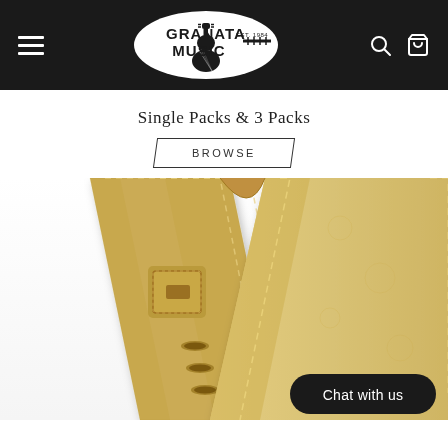Granata Music — navigation header with logo, hamburger menu, search and cart icons
Single Packs & 3 Packs
BROWSE
[Figure (photo): Close-up photo of a tan/beige leather guitar strap showing adjustment buckle, stitching, and adjustment holes]
Chat with us